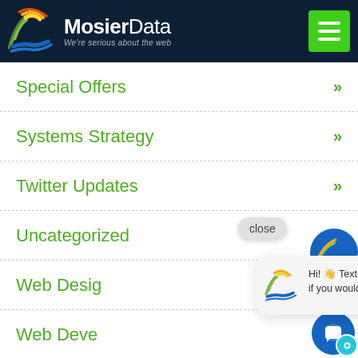[Figure (logo): MosierData logo with colored wave/signal icon and text 'MosierData - We're serious about the web' on dark navy header, with green hamburger menu button]
Special Offers »
Systems Strategy »
Twitter Updates »
Uncategorized
Web Design (partially obscured)
Web Development (partially obscured)
Web Hosting
Web Services
[Figure (screenshot): Chat popup overlay with close button, MosierData logo icon, and text 'Hi! Text us here if you would like.']
[Figure (illustration): Blue chat bubble button with teal notification dot in bottom right corner]